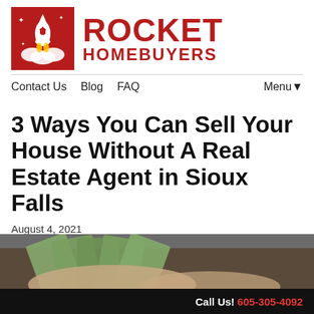[Figure (logo): Rocket Homebuyers logo: red square with white rocket and stars icon on left, bold red text ROCKET HOMEBUYERS on right]
Contact Us   Blog   FAQ   Menu▼
3 Ways You Can Sell Your House Without A Real Estate Agent in Sioux Falls
August 4, 2021
By Michael McDonald
[Figure (photo): Close-up photo of hands holding fanned-out US dollar bills]
Call Us! 605-305-4092